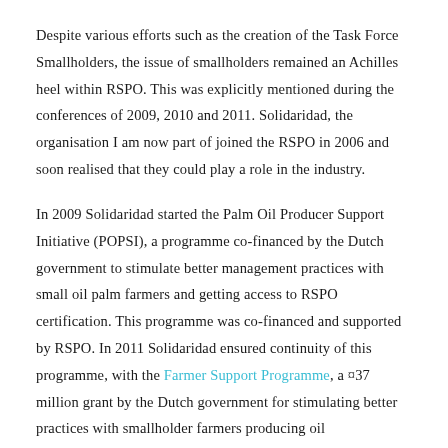Despite various efforts such as the creation of the Task Force Smallholders, the issue of smallholders remained an Achilles heel within RSPO. This was explicitly mentioned during the conferences of 2009, 2010 and 2011. Solidaridad, the organisation I am now part of joined the RSPO in 2006 and soon realised that they could play a role in the industry.
In 2009 Solidaridad started the Palm Oil Producer Support Initiative (POPSI), a programme co-financed by the Dutch government to stimulate better management practices with small oil palm farmers and getting access to RSPO certification. This programme was co-financed and supported by RSPO. In 2011 Solidaridad ensured continuity of this programme, with the Farmer Support Programme, a ¤37 million grant by the Dutch government for stimulating better practices with smallholder farmers producing oil